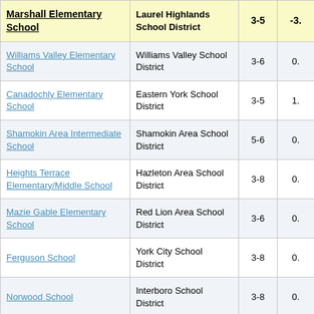| Marshall Elementary School | Laurel Highlands School District | 3-5 | -3. |
| --- | --- | --- | --- |
| Williams Valley Elementary School | Williams Valley School District | 3-6 | 0. |
| Canadochly Elementary School | Eastern York School District | 3-5 | 1. |
| Shamokin Area Intermediate School | Shamokin Area School District | 5-6 | 0. |
| Heights Terrace Elementary/Middle School | Hazleton Area School District | 3-8 | 0. |
| Mazie Gable Elementary School | Red Lion Area School District | 3-6 | 0. |
| Ferguson School | York City School District | 3-8 | 0. |
| Norwood School | Interboro School District | 3-8 | 0. |